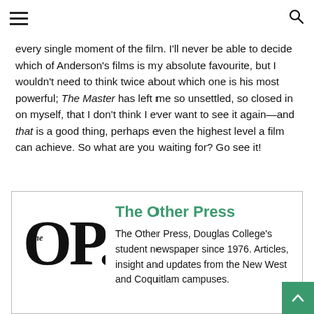Navigation header with hamburger menu and search icon
every single moment of the film. I'll never be able to decide which of Anderson's films is my absolute favourite, but I wouldn't need to think twice about which one is his most powerful; The Master has left me so unsettled, so closed in on myself, that I don't think I ever want to see it again—and that is a good thing, perhaps even the highest level a film can achieve. So what are you waiting for? Go see it!
[Figure (logo): The Other Press newspaper logo — large bold OP. with small italic 'The' inside the O]
The Other Press
The Other Press, Douglas College's student newspaper since 1976. Articles, insight and updates from the New West and Coquitlam campuses.